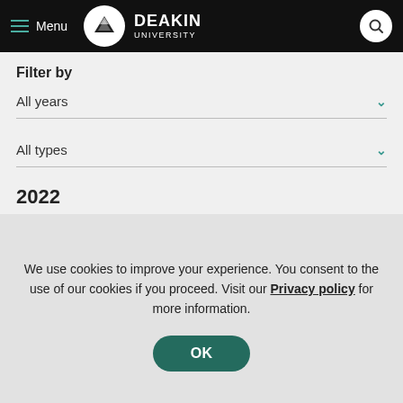Deakin University — Menu header with logo and search
Filter by
All years
All types
2022
Evening Whey Protein Intake, Rich in Tryptophan, and
We use cookies to improve your experience. You consent to the use of our cookies if you proceed. Visit our Privacy policy for more information.